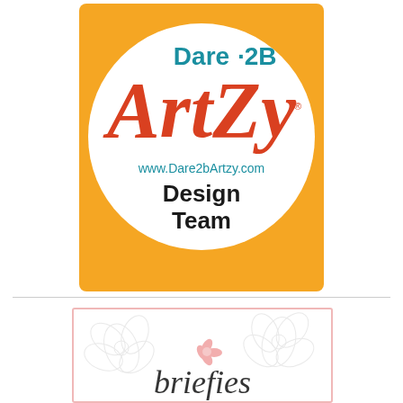[Figure (logo): Dare 2B Artzy Design Team logo: orange square background with white circle containing 'Dare 2B' in teal, 'Artzy' in large red/orange script letters, 'www.Dare2bArtzy.com' in teal, and 'Design Team' in bold black text below.]
[Figure (logo): A second logo/brand block with a light pink border, floral outline design in light gray, small pink decorative floral element in center, and a cursive black script signature/brand name at the bottom (partially visible).]